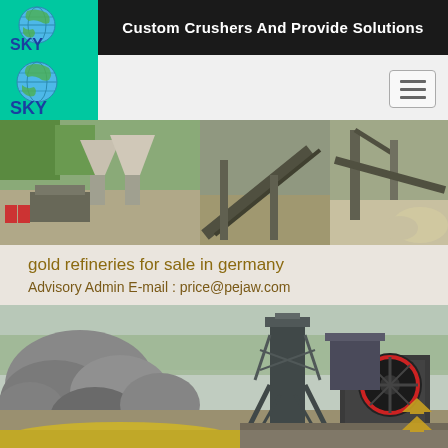Custom Crushers And Provide Solutions
[Figure (photo): SKY company logo with globe graphic on teal/green background with 'SKY' text in blue]
[Figure (photo): Industrial crushing and conveyor equipment at a mining/quarry site, panoramic banner photo]
gold refineries for sale in germany
Advisory Admin E-mail : price@pejaw.com
[Figure (photo): Industrial crusher machine at a quarry site with large rocks and yellow sandy material in foreground]